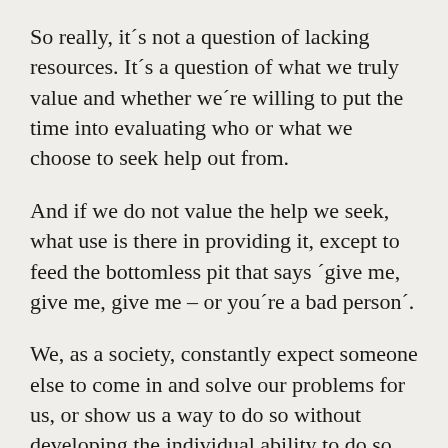So really, it´s not a question of lacking resources. It´s a question of what we truly value and whether we´re willing to put the time into evaluating who or what we choose to seek help out from.
And if we do not value the help we seek, what use is there in providing it, except to feed the bottomless pit that says ´give me, give me, give me – or you´re a bad person´.
We, as a society, constantly expect someone else to come in and solve our problems for us, or show us a way to do so without developing the individual ability to do so. And that has created a culture of extreme dependency. We expect to be saved.
I still and to a di...